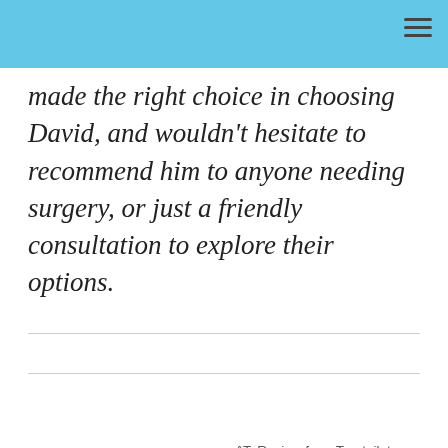made the right choice in choosing David, and wouldn't hesitate to recommend him to anyone needing surgery, or just a friendly consultation to explore their options.
– AT: Review from Trustpilot.com